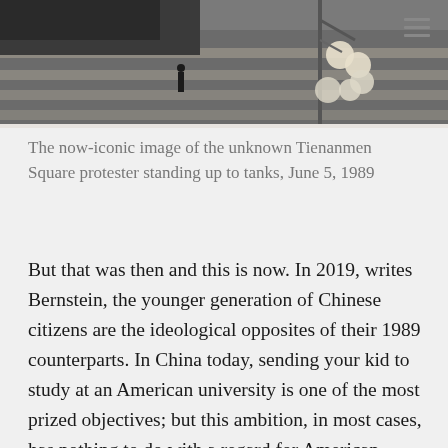[Figure (photo): Black and white photograph showing Tiananmen Square scene with tanks on a road and a ornate street lamp in the foreground]
The now-iconic image of the unknown Tienanmen Square protester standing up to tanks, June 5, 1989
But that was then and this is now. In 2019, writes Bernstein, the younger generation of Chinese citizens are the ideological opposites of their 1989 counterparts. In China today, sending your kid to study at an American university is one of the most prized objectives; but this ambition, in most cases, has nothing to do with a regard for American freedom. For both the parents and the children, it's about prestige, the potential economic value of an Ivy League diploma, and